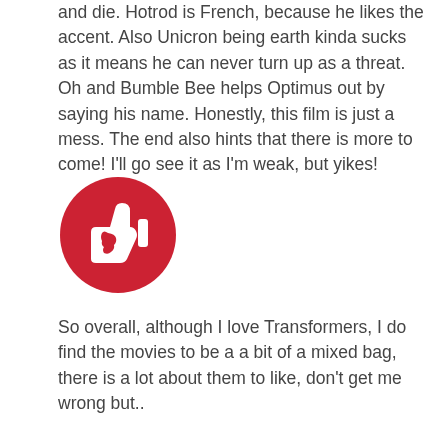and die. Hotrod is French, because he likes the accent. Also Unicron being earth kinda sucks as it means he can never turn up as a threat. Oh and Bumble Bee helps Optimus out by saying his name. Honestly, this film is just a mess. The end also hints that there is more to come! I'll go see it as I'm weak, but yikes!
[Figure (illustration): A red circle containing a white thumbs-down icon with a profile of a face on the thumb.]
So overall, although I love Transformers, I do find the movies to be a a bit of a mixed bag, there is a lot about them to like, don't get me wrong but..